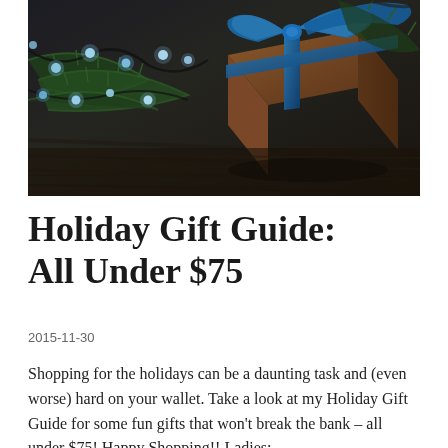[Figure (photo): A brown gift box with a teal/blue satin ribbon bow, surrounded by pine branches and string lights with blue/white LEDs, on a wooden surface.]
Holiday Gift Guide: All Under $75
2015-11-30
Shopping for the holidays can be a daunting task and (even worse) hard on your wallet. Take a look at my Holiday Gift Guide for some fun gifts that won't break the bank – all under $75! Happy Shopping!! Ladies: